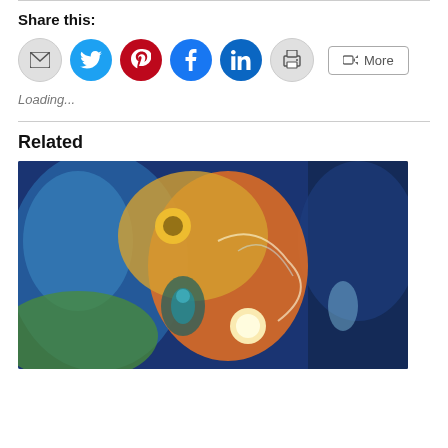Share this:
[Figure (infographic): Social sharing buttons: email (grey circle), Twitter (blue circle), Pinterest (red circle), Facebook (blue circle), LinkedIn (dark blue circle), print (grey circle), and a 'More' button with share icon]
Loading...
Related
[Figure (illustration): Fantasy painting of a woman with golden skin and flowing hair adorned with a sunflower, peacock feather earrings, holding a glowing orb with butterflies, surrounded by swirling blue and green cosmic energy]